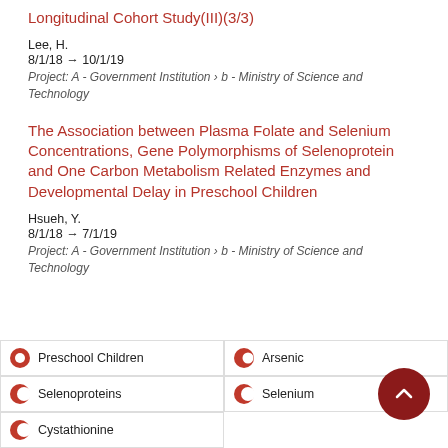Longitudinal Cohort Study(III)(3/3)
Lee, H.
8/1/18 → 10/1/19
Project: A - Government Institution › b - Ministry of Science and Technology
The Association between Plasma Folate and Selenium Concentrations, Gene Polymorphisms of Selenoprotein and One Carbon Metabolism Related Enzymes and Developmental Delay in Preschool Children
Hsueh, Y.
8/1/18 → 7/1/19
Project: A - Government Institution › b - Ministry of Science and Technology
Preschool Children
Arsenic
Selenoproteins
Selenium
Cystathionine